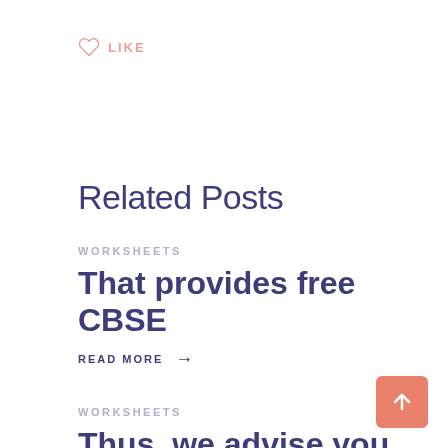LIKE
Related Posts
WORKSHEETS
That provides free CBSE
READ MORE →
WORKSHEETS
Thus, we advise you to encourage your kids to